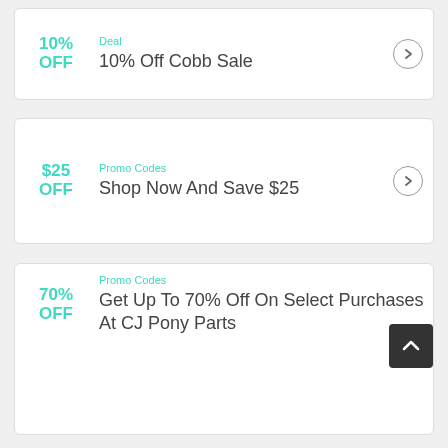Deal
10% OFF
10% Off Cobb Sale
Promo Codes
$25 OFF
Shop Now And Save $25
Promo Codes
70% OFF
Get Up To 70% Off On Select Purchases At CJ Pony Parts